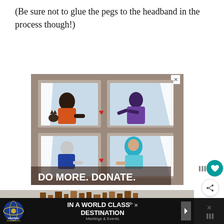(Be sure not to glue the pegs to the headband in the process though!)
[Figure (illustration): Animated illustration of four people in apartment windows exchanging hearts, with text 'DO MORE. DONATE.' at the bottom on a brown background]
[Figure (illustration): Partial view of brown books/posts in a light gray background]
[Figure (illustration): Bottom banner advertisement for Universal Orlando Resort Meetings & Events with text 'IN A WORLD CLASS DESTINATION']